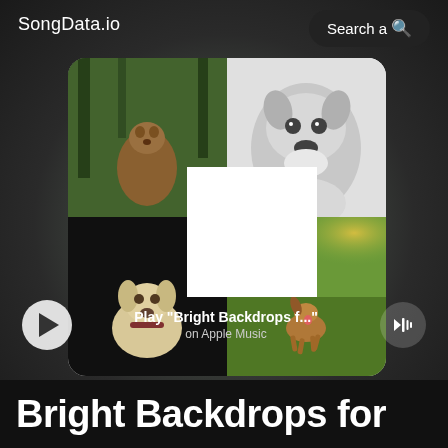SongData.io
Search a
[Figure (photo): Album art collage of four dog photos: top-left is a golden/brown dog sitting on a leash in a forest (color), top-right is a black and white close-up of a pit bull type dog's face, bottom-left is a white/yellow Labrador looking up on a dark background, bottom-right is a small brown dog running on a grassy sunlit path. A white square overlaps the center.]
Play "Bright Backdrops f..."
on Apple Music
Bright Backdrops for